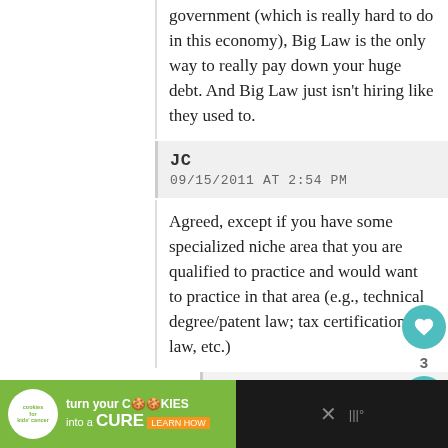government (which is really hard to do in this economy), Big Law is the only way to really pay down your huge debt. And Big Law just isn't hiring like they used to.
JC
09/15/2011 AT 2:54 PM
Agreed, except if you have some specialized niche area that you are qualified to practice and would want to practice in that area (e.g., technical degree/patent law; tax certification/tax law, etc.)
Looking for Law School
09/15/2011 AT 4:30 PM
OK, so what do you think if:
a: my GPA is 3.56
[Figure (screenshot): Advertisement banner: cookies for kids cancer - turn your cookies into a CURE LEARN HOW]